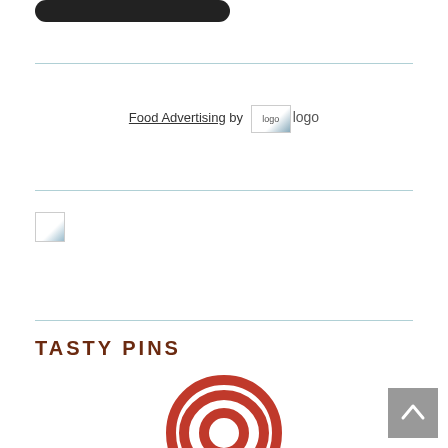[Figure (other): Dark rounded rectangle button at top of page]
Food Advertising by logo
[Figure (other): Small broken/placeholder image icon]
TASTY PINS
[Figure (other): Pinterest-style circular pin logo icon in red]
[Figure (other): Back to top button (grey square with upward chevron arrow)]